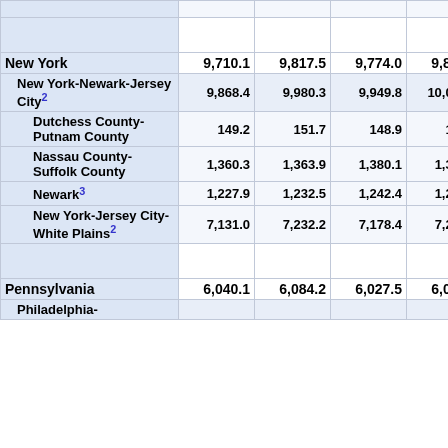| Area | Col1 | Col2 | Col3 | Col4 | Col5 |
| --- | --- | --- | --- | --- | --- |
| (clipped top row) |  |  |  |  |  |
| (blank) |  |  |  |  |  |
| New York | 9,710.1 | 9,817.5 | 9,774.0 | 9,885.3 | 111.3 |
| New York-Newark-Jersey City(2) | 9,868.4 | 9,980.3 | 9,949.8 | 10,073.6 | 123.8 |
| Dutchess County-Putnam County | 149.2 | 151.7 | 148.9 | 151.0 | 2.1 |
| Nassau County-Suffolk County | 1,360.3 | 1,363.9 | 1,380.1 | 1,385.4 | 5.3 |
| Newark(3) | 1,227.9 | 1,232.5 | 1,242.4 | 1,247.3 | 4.9 |
| New York-Jersey City-White Plains(2) | 7,131.0 | 7,232.2 | 7,178.4 | 7,289.9 | 111.5 |
| (blank) |  |  |  |  |  |
| Pennsylvania | 6,040.1 | 6,084.2 | 6,027.5 | 6,090.2 | 62.7 |
| Philadelphia- |  |  |  |  |  |